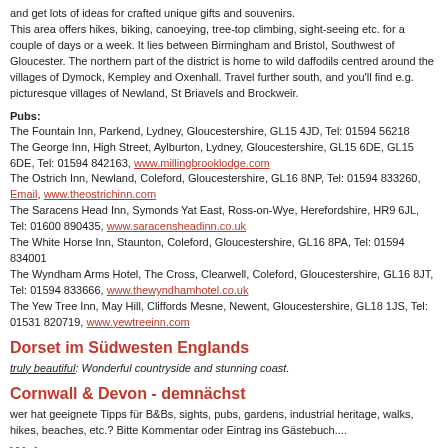and get lots of ideas for crafted unique gifts and souvenirs. This area offers hikes, biking, canoeying, tree-top climbing, sight-seeing etc. for a couple of days or a week. It lies between Birmingham and Bristol, Southwest of Gloucester. The northern part of the district is home to wild daffodils centred around the villages of Dymock, Kempley and Oxenhall. Travel further south, and you'll find e.g. picturesque villages of Newland, St Briavels and Brockweir.
Pubs:
The Fountain Inn, Parkend, Lydney, Gloucestershire, GL15 4JD, Tel: 01594 56218
The George Inn, High Street, Aylburton, Lydney, Gloucestershire, GL15 6DE, GL15 6DE, Tel: 01594 842163, www.millingbrooklodge.com
The Ostrich Inn, Newland, Coleford, Gloucestershire, GL16 8NP, Tel: 01594 833260, Email, www.theostrichinn.com
The Saracens Head Inn, Symonds Yat East, Ross-on-Wye, Herefordshire, HR9 6JL, Tel: 01600 890435, www.saracensheadinn.co.uk
The White Horse Inn, Staunton, Coleford, Gloucestershire, GL16 8PA, Tel: 01594 834001
The Wyndham Arms Hotel, The Cross, Clearwell, Coleford, Gloucestershire, GL16 8JT, Tel: 01594 833666, www.thewyndhamhotel.co.uk
The Yew Tree Inn, May Hill, Cliffords Mesne, Newent, Gloucestershire, GL18 1JS, Tel: 01531 820719, www.yewtreeinn.com
Dorset im Südwesten Englands
truly beautiful: Wonderful countryside and stunning coast.
Cornwall & Devon - demnächst
wer hat geeignete Tipps für B&Bs, sights, pubs, gardens, industrial heritage, walks, hikes, beaches, etc.? Bitte Kommentar oder Eintrag ins Gästebuch....
Wales